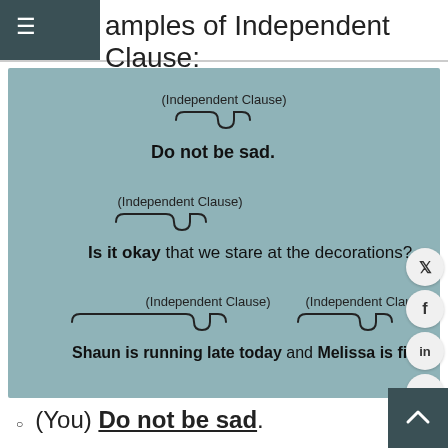Examples of Independent Clause:
[Figure (infographic): Diagram showing three examples of independent clauses with curly brace annotations. Example 1: (Independent Clause) label over curly brace above 'Do not be sad.' Example 2: (Independent Clause) label over curly brace above 'Is it okay' (bold) followed by 'that we stare at the decorations?' Example 3: Two (Independent Clause) labels with curly braces above 'Shaun is running late today' (bold) and over 'Melissa is filling in for him.' (bold) joined by 'and'.]
(You) Do not be sad.
Though the Noun - “You” is hidden, “Do not be sad” can stand alone and convey a complete sense. That is a complete sentence containing one main clause